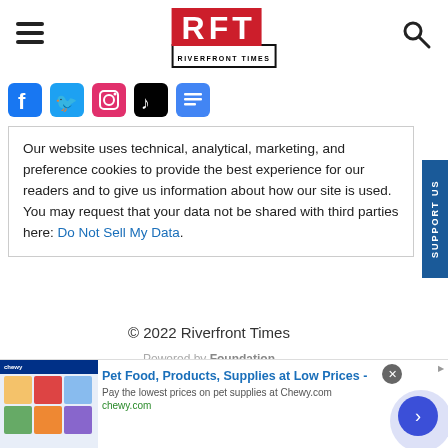RFT RIVERFRONT TIMES
[Figure (logo): Social media icons: Facebook, Twitter, Instagram, TikTok, Google News]
Our website uses technical, analytical, marketing, and preference cookies to provide the best experience for our readers and to give us information about how our site is used. You may request that your data not be shared with third parties here: Do Not Sell My Data.
© 2022 Riverfront Times
Powered by Foundation
[Figure (screenshot): Advertisement banner for Chewy.com: Pet Food, Products, Supplies at Low Prices - Pay the lowest prices on pet supplies at Chewy.com]